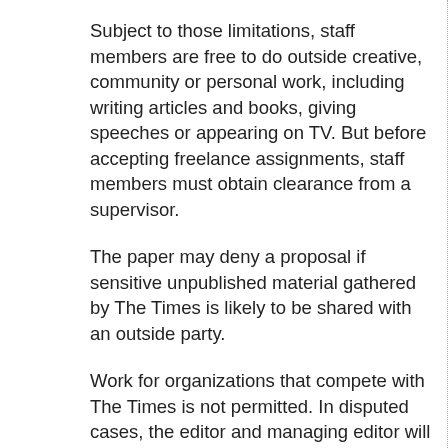Subject to those limitations, staff members are free to do outside creative, community or personal work, including writing articles and books, giving speeches or appearing on TV. But before accepting freelance assignments, staff members must obtain clearance from a supervisor.
The paper may deny a proposal if sensitive unpublished material gathered by The Times is likely to be shared with an outside party.
Work for organizations that compete with The Times is not permitted. In disputed cases, the editor and managing editor will determine who our competitors are.
Journalists may not work for people or organizations they cover or who are regular subjects of the paper's coverage.
The emergence of blogs has created potential quandaries for staff members who want to express themselves through that medium.